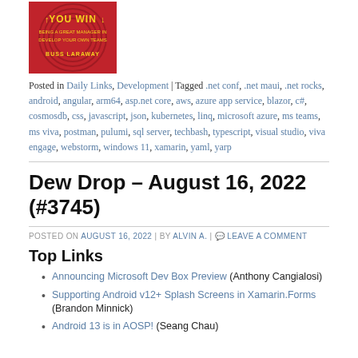[Figure (illustration): Book cover with red background and yellow text reading 'YOU WIN' — being a great manager in modern times — BUSS LARAWAY]
Posted in Daily Links, Development | Tagged .net conf, .net maui, .net rocks, android, angular, arm64, asp.net core, aws, azure app service, blazor, c#, cosmosdb, css, javascript, json, kubernetes, linq, microsoft azure, ms teams, ms viva, postman, pulumi, sql server, techbash, typescript, visual studio, viva engage, webstorm, windows 11, xamarin, yaml, yarp
Dew Drop – August 16, 2022 (#3745)
POSTED ON AUGUST 16, 2022 | BY ALVIN A. | LEAVE A COMMENT
Top Links
Announcing Microsoft Dev Box Preview (Anthony Cangialosi)
Supporting Android v12+ Splash Screens in Xamarin.Forms (Brandon Minnick)
Android 13 is in AOSP! (Seang Chau)